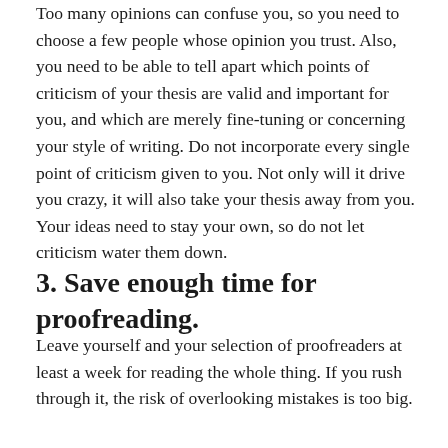Too many opinions can confuse you, so you need to choose a few people whose opinion you trust. Also, you need to be able to tell apart which points of criticism of your thesis are valid and important for you, and which are merely fine-tuning or concerning your style of writing. Do not incorporate every single point of criticism given to you. Not only will it drive you crazy, it will also take your thesis away from you. Your ideas need to stay your own, so do not let criticism water them down.
3. Save enough time for proofreading.
Leave yourself and your selection of proofreaders at least a week for reading the whole thing. If you rush through it, the risk of overlooking mistakes is too big.